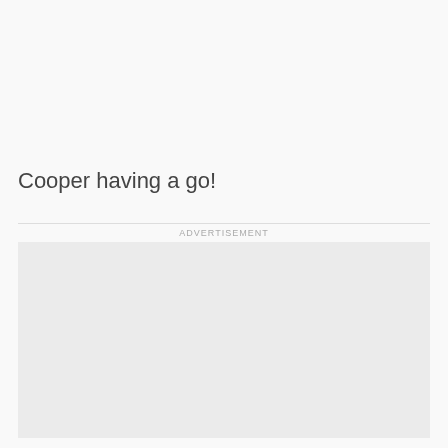Cooper having a go!
ADVERTISEMENT
[Figure (other): Advertisement placeholder box, light grey background]